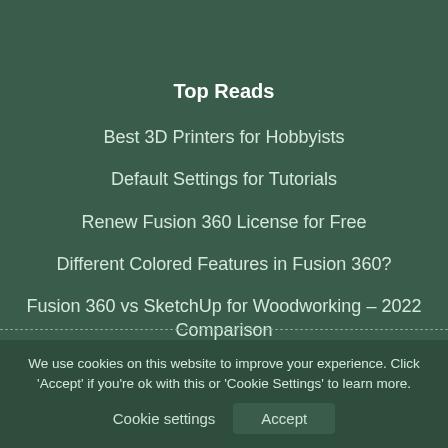Top Reads
Best 3D Printers for Hobbyists
Default Settings for Tutorials
Renew Fusion 360 License for Free
Different Colored Features in Fusion 360?
Fusion 360 vs SketchUp for Woodworking – 2022 Comparison
We use cookies on this website to improve your experience. Click 'Accept' if you're ok with this or 'Cookie Settings' to learn more.
Cookie settings   Accept